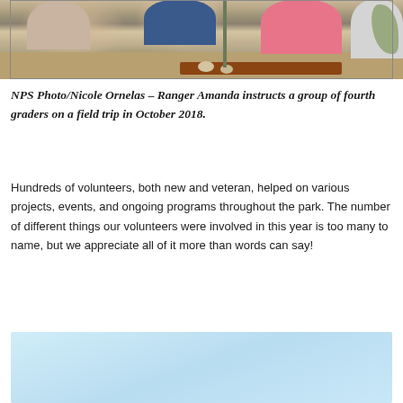[Figure (photo): Children sitting on a bench outdoors with a ranger on a field trip, dry shrubby landscape background, October 2018]
NPS Photo/Nicole Ornelas – Ranger Amanda instructs a group of fourth graders on a field trip in October 2018.
Hundreds of volunteers, both new and veteran, helped on various projects, events, and ongoing programs throughout the park. The number of different things our volunteers were involved in this year is too many to name, but we appreciate all of it more than words can say!
[Figure (other): Light blue gradient box, partial view of content below]